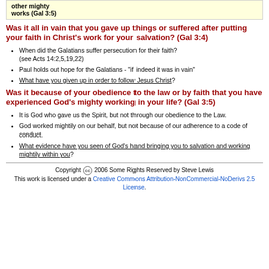|  |  |  |
| --- | --- | --- |
| other mighty works (Gal 3:5) | the Law | of faith |
Was it all in vain that you gave up things or suffered after putting your faith in Christ's work for your salvation? (Gal 3:4)
When did the Galatians suffer persecution for their faith? (see Acts 14:2,5,19,22)
Paul holds out hope for the Galatians - "if indeed it was in vain"
What have you given up in order to follow Jesus Christ?
Was it because of your obedience to the law or by faith that you have experienced God's mighty working in your life? (Gal 3:5)
It is God who gave us the Spirit, but not through our obedience to the Law.
God worked mightily on our behalf, but not because of our adherence to a code of conduct.
What evidence have you seen of God's hand bringing you to salvation and working mightily within you?
Copyright © 2006 Some Rights Reserved by Steve Lewis This work is licensed under a Creative Commons Attribution-NonCommercial-NoDerivs 2.5 License.